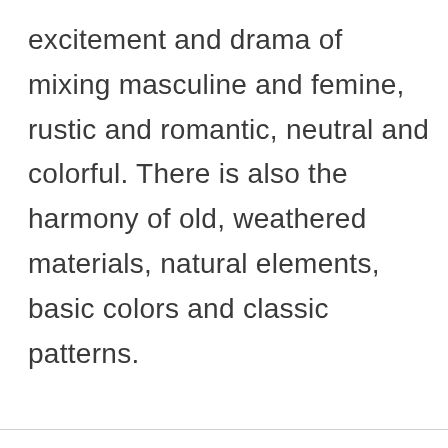excitement and drama of mixing masculine and femine, rustic and romantic, neutral and colorful. There is also the harmony of old, weathered materials, natural elements, basic colors and classic patterns.